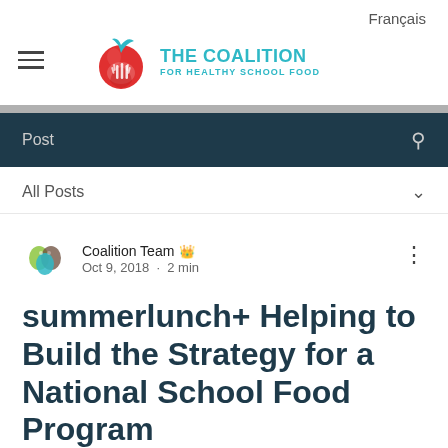Français
[Figure (logo): The Coalition for Healthy School Food logo — red apple with hands and teal text]
Post
All Posts
Coalition Team  Oct 9, 2018 · 2 min
summerlunch+ Helping to Build the Strategy for a National School Food Program